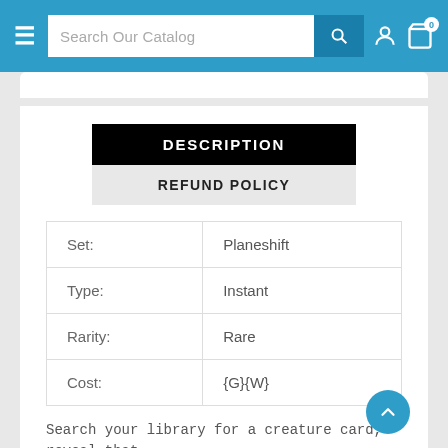Search Our Catalog
DESCRIPTION
REFUND POLICY
|  |  |
| --- | --- |
| Set: | Planeshift |
| Type: | Instant |
| Rarity: | Rare |
| Cost: | {G}{W} |
Search your library for a creature card, reveal that